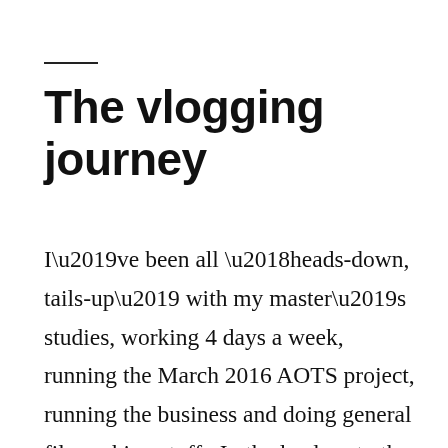The vlogging journey
I’ve been all ‘heads-down, tails-up’ with my master’s studies, working 4 days a week, running the March 2016 AOTS project, running the business and doing general filmmaking stuff.  In the lead-up to the June 2016 AOTS project — two weeks away! — I’ve started vlogging. Check out the first one